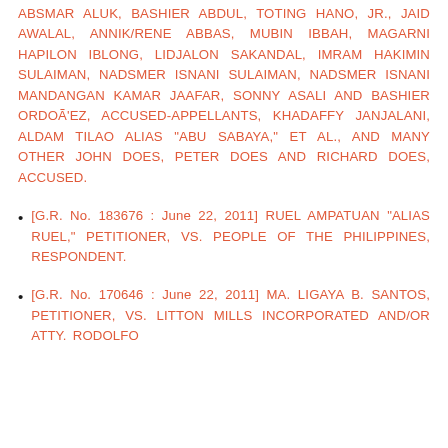ABSMAR ALUK, BASHIER ABDUL, TOTING HANO, JR., JAID AWALAL, ANNIK/RENE ABBAS, MUBIN IBBAH, MAGARNI HAPILON IBLONG, LIDJALON SAKANDAL, IMRAM HAKIMIN SULAIMAN, NADSMER ISNANI SULAIMAN, NADSMER ISNANI MANDANGAN KAMAR JAAFAR, SONNY ASALI AND BASHIER ORDOÃ'EZ, ACCUSED-APPELLANTS, KHADAFFY JANJALANI, ALDAM TILAO ALIAS "ABU SABAYA," ET AL., AND MANY OTHER JOHN DOES, PETER DOES AND RICHARD DOES, ACCUSED.
[G.R. No. 183676 : June 22, 2011] RUEL AMPATUAN "ALIAS RUEL," PETITIONER, VS. PEOPLE OF THE PHILIPPINES, RESPONDENT.
[G.R. No. 170646 : June 22, 2011] MA. LIGAYA B. SANTOS, PETITIONER, VS. LITTON MILLS INCORPORATED AND/OR ATTY. RODOLFO